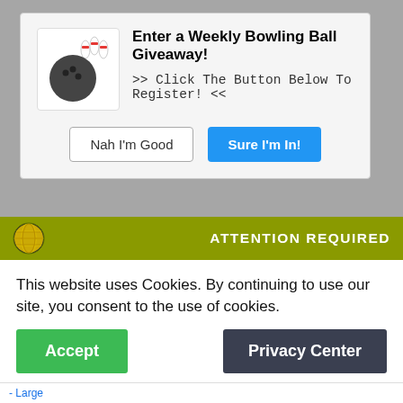[Figure (screenshot): Popup modal for a Weekly Bowling Ball Giveaway with a bowling ball and pins icon, title text, subtitle text, and two buttons: 'Nah I'm Good' and 'Sure I'm In!']
Enter a Weekly Bowling Ball Giveaway!
>> Click The Button Below To Register! <<
Brunswick Microfiber See Saw (Black/Navy)
$13.95
★★★★★ (854)
Ebonite Ultra Slide Powder
★★★★★ (1778)
ATTENTION REQUIRED
This website uses Cookies. By continuing to use our site, you consent to the use of cookies.
Accept
Privacy Center
- Large